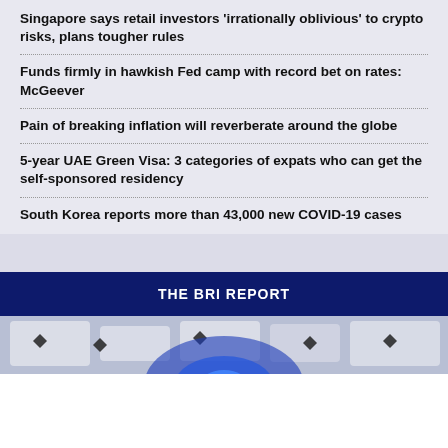Singapore says retail investors 'irrationally oblivious' to crypto risks, plans tougher rules
Funds firmly in hawkish Fed camp with record bet on rates: McGeever
Pain of breaking inflation will reverberate around the globe
5-year UAE Green Visa: 3 categories of expats who can get the self-sponsored residency
South Korea reports more than 43,000 new COVID-19 cases
THE BRI REPORT
[Figure (photo): Partial view of a technology/network themed image with diamond shapes and a blue glowing sphere at the bottom, partially visible.]